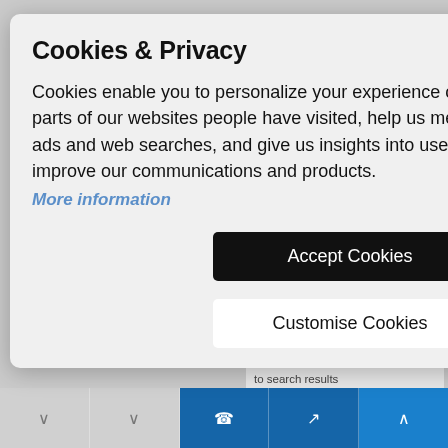[Figure (screenshot): Website background partially visible behind a cookie consent modal dialog. Shows a cyan/blue rectangle in the top-right, a red accent bar on the right side, grey search bar, arrow button, and blue navigation bar at the bottom with icons.]
Cookies & Privacy
Cookies enable you to personalize your experience on our site, tell us which parts of our websites people have visited, help us measure the effectiveness of ads and web searches, and give us insights into user behavior so we can improve our communications and products.
More information
Accept Cookies
Customise Cookies